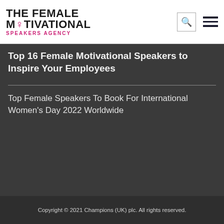THE FEMALE MOTIVATIONAL SPEAKERS AGENCY
Top 16 Female Motivational Speakers to Inspire Your Employees
Top Female Speakers To Book For International Women's Day 2022 Worldwide
Copyright © 2021 Champions (UK) plc. All rights reserved.